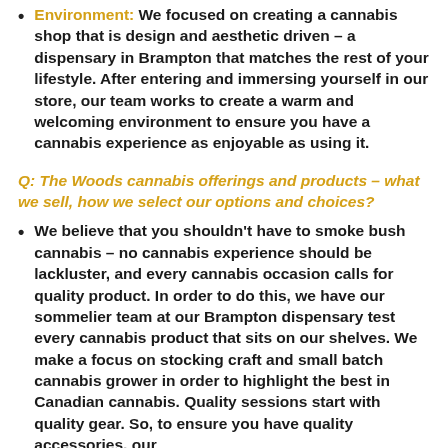Environment: We focused on creating a cannabis shop that is design and aesthetic driven – a dispensary in Brampton that matches the rest of your lifestyle. After entering and immersing yourself in our store, our team works to create a warm and welcoming environment to ensure you have a cannabis experience as enjoyable as using it.
Q: The Woods cannabis offerings and products – what we sell, how we select our options and choices?
We believe that you shouldn't have to smoke bush cannabis – no cannabis experience should be lackluster, and every cannabis occasion calls for quality product. In order to do this, we have our sommelier team at our Brampton dispensary test every cannabis product that sits on our shelves. We make a focus on stocking craft and small batch cannabis grower in order to highlight the best in Canadian cannabis. Quality sessions start with quality gear. So, to ensure you have quality accessories, our